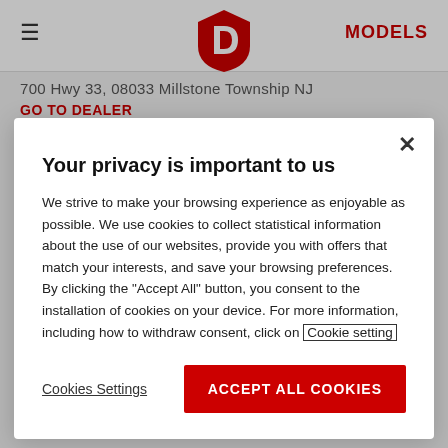MODELS
700 Hwy 33, 08033 Millstone Township NJ
GO TO DEALER
Your privacy is important to us
We strive to make your browsing experience as enjoyable as possible. We use cookies to collect statistical information about the use of our websites, provide you with offers that match your interests, and save your browsing preferences. By clicking the "Accept All" button, you consent to the installation of cookies on your device. For more information, including how to withdraw consent, click on Cookie setting
Cookies Settings
ACCEPT ALL COOKIES